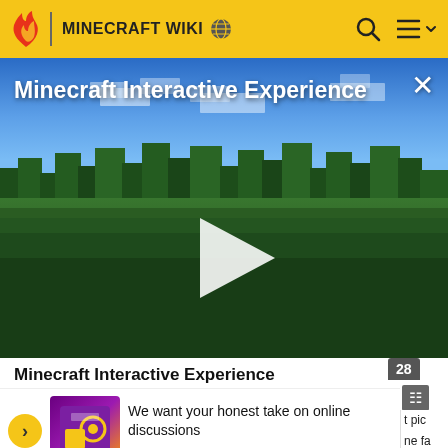MINECRAFT WIKI
[Figure (screenshot): Minecraft Interactive Experience video thumbnail showing a Minecraft landscape with green fields, trees, blue sky with clouds, and a white play button in the center. Title text 'Minecraft Interactive Experience' overlaid in white at top left. Close (×) button at top right.]
Minecraft Interactive Experience
28
We want your honest take on online discussions
SURVEY: ONLINE FORUMS
t pic ne fa thes